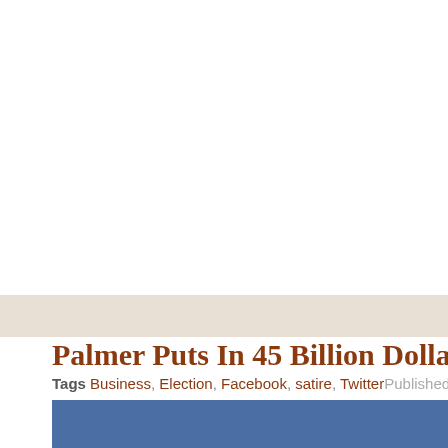Palmer Puts In 45 Billion Dollar Bid For My...
Tags Business, Election, Facebook, satire, Twitter Published by And...
[Figure (photo): Blue rectangular image area, partially visible at bottom of page]